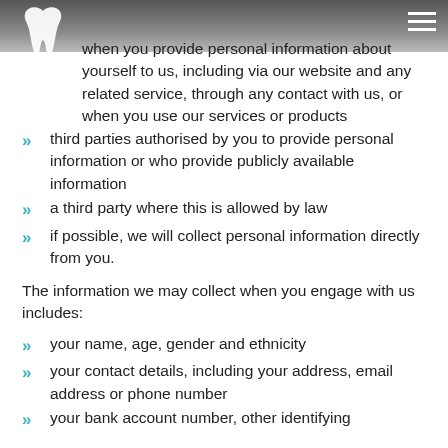when you provide personal information about yourself to us, including via our website and any related service, through any contact with us, or when you use our services or products
third parties authorised by you to provide personal information or who provide publicly available information
a third party where this is allowed by law
if possible, we will collect personal information directly from you.
The information we may collect when you engage with us includes:
your name, age, gender and ethnicity
your contact details, including your address, email address or phone number
your bank account number, other identifying